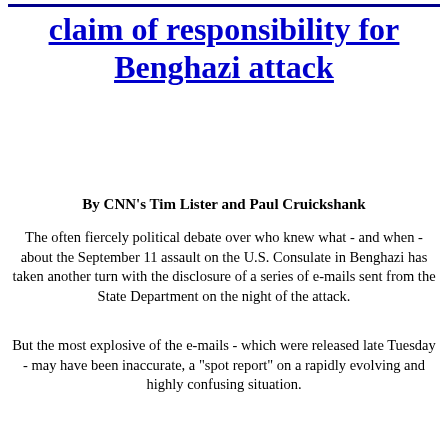claim of responsibility for Benghazi attack
By CNN's Tim Lister and Paul Cruickshank
The often fiercely political debate over who knew what - and when - about the September 11 assault on the U.S. Consulate in Benghazi has taken another turn with the disclosure of a series of e-mails sent from the State Department on the night of the attack.
But the most explosive of the e-mails - which were released late Tuesday - may have been inaccurate, a "spot report" on a rapidly evolving and highly confusing situation.
The disclosure of the e-mail has given new life to the already fevered debate over when the Obama administration learned that the attack was more than a protest that turned deadly but was the work of terrorists.
The e-mail carried the subject line: "Update 2: Ansar al Sharia Claims Responsibility For Benghazi Attack." The message said: "Embassy Tripoli reports the group has claimed responsibility on Facebook and Twitter and has called for an attack on Embassy